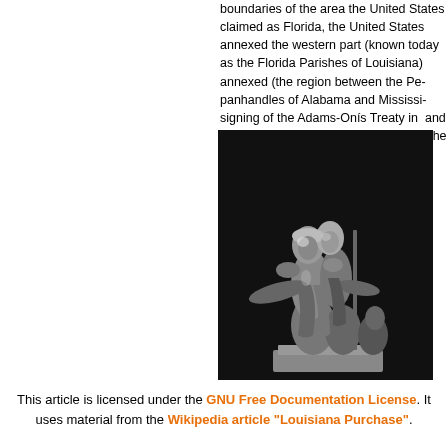boundaries of the area the United States claimed as Florida, the United States annexed the western part (known today as the Florida Parishes of Louisiana) annexed (the region between the Pearl River and the panhandles of Alabama and Mississippi) before the signing of the Adams-Onís Treaty in 1819 formalized and the boundary between the Louisiana Purchase along the Sabine, Red and Arkansas
[Figure (photo): Black and white photograph of a classical statue showing two figures, one standing behind the other, appearing to be a historical monument related to the Louisiana Purchase.]
This article is licensed under the GNU Free Documentation License. It uses material from the Wikipedia article "Louisiana Purchase".